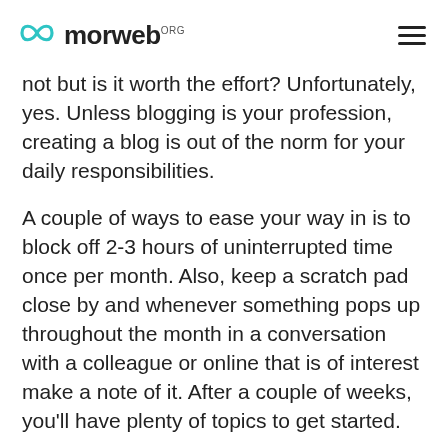morweb.org
not but is it worth the effort? Unfortunately, yes. Unless blogging is your profession, creating a blog is out of the norm for your daily responsibilities.
A couple of ways to ease your way in is to block off 2-3 hours of uninterrupted time once per month. Also, keep a scratch pad close by and whenever something pops up throughout the month in a conversation with a colleague or online that is of interest make a note of it. After a couple of weeks, you’ll have plenty of topics to get started.